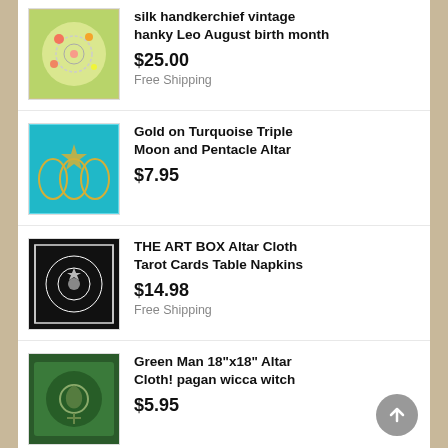silk handkerchief vintage hanky Leo August birth month — $25.00, Free Shipping
Gold on Turquoise Triple Moon and Pentacle Altar — $7.95
THE ART BOX Altar Cloth Tarot Cards Table Napkins — $14.98, Free Shipping
Green Man 18"x18" Altar Cloth! pagan wicca witch — $5.95
18"x18" Gold on Black Triquetra Altar Cloth!